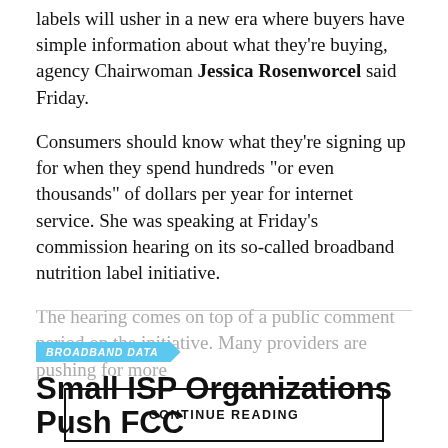labels will usher in a new era where buyers have simple information about what they’re buying, agency Chairwoman Jessica Rosenworcel said Friday.
Consumers should know what they’re signing up for when they spend hundreds “or even thousands” of dollars per year for internet service. She was speaking at Friday’s commission hearing on its so-called broadband nutrition label initiative.
The hearing comes on top of a public comment period on the initiative. Many providers are pushing for more …
CONTINUE READING
BROADBAND DATA
Small ISP Organizations Push FCC